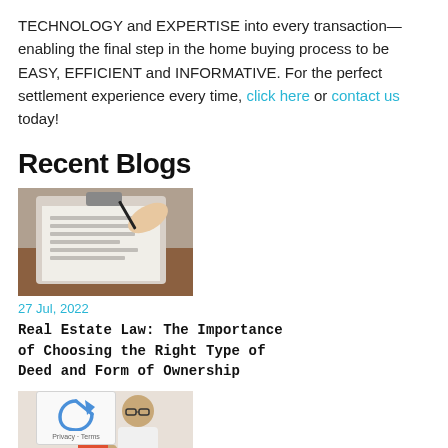TECHNOLOGY and EXPERTISE into every transaction—enabling the final step in the home buying process to be EASY, EFFICIENT and INFORMATIVE. For the perfect settlement experience every time, click here or contact us today!
Recent Blogs
[Figure (photo): A person signing a document on a clipboard with a pen]
27 Jul, 2022
Real Estate Law: The Importance of Choosing the Right Type of Deed and Form of Ownership
[Figure (photo): A person in glasses holding small house model with coins, with reCAPTCHA overlay showing Privacy - Terms]